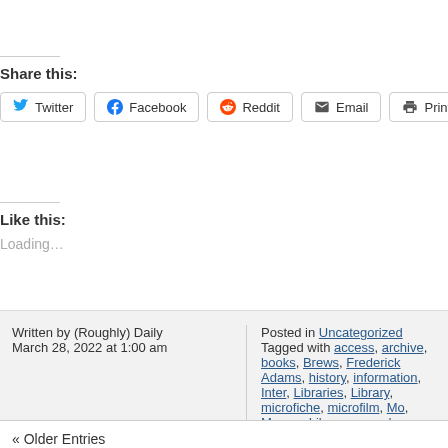Share this:
Twitter Facebook Reddit Email Print
Like this:
Loading...
Written by (Roughly) Daily
March 28, 2022 at 1:00 am
Posted in Uncategorized
Tagged with access, archive, books, Brews, Frederick Adams, history, information, Inter, Libraries, Library, microfiche, microfilm, Mo, Morgan Library, records, Wayback Machine
« Older Entries